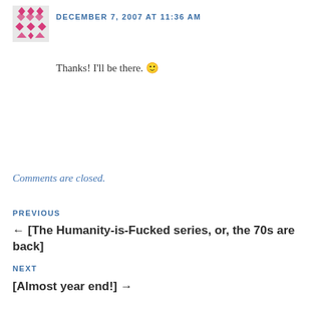[Figure (illustration): Pink/magenta decorative geometric avatar icon with diamond and arrow patterns]
DECEMBER 7, 2007 AT 11:36 AM
Thanks! I'll be there. 🙂
Comments are closed.
PREVIOUS
← [The Humanity-is-Fucked series, or, the 70s are back]
NEXT
[Almost year end!] →